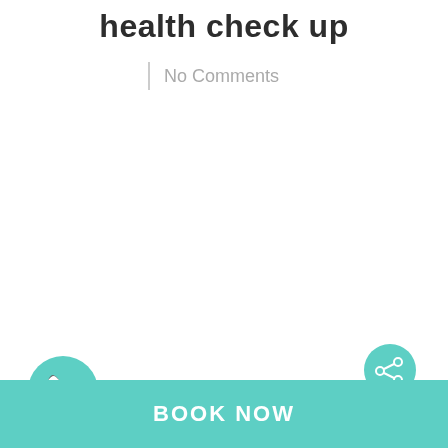health check up
No Comments
[Figure (other): Phone call circular button icon in teal/mint green]
[Figure (other): Share circular button icon in teal/mint green]
BOOK NOW